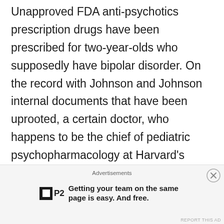Unapproved FDA anti-psychotics prescription drugs have been prescribed for two-year-olds who supposedly have bipolar disorder. On the record with Johnson and Johnson internal documents that have been uprooted, a certain doctor, who happens to be the chief of pediatric psychopharmacology at Harvard's Massachusetts General Hospital, appears to have pushed these unapproved drugs through speaking engagement …
CONTINUE READING
Advertisements
Getting your team on the same page is easy. And free.